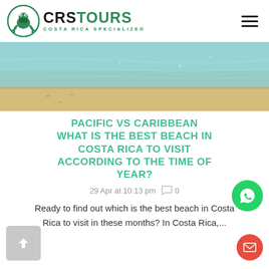CRSTOURS COSTA RICA SPECIALIZED
[Figure (photo): Aerial/ground-level view of a sandy beach meeting shallow turquoise Caribbean/Pacific water]
PACIFIC VS CARIBBEAN WHAT IS THE BEST BEACH IN COSTA RICA TO VISIT ACCORDING TO THE TIME OF YEAR?
29 Apr at 10:13 pm  0
Ready to find out which is the best beach in Costa Rica to visit in these months? In Costa Rica,...